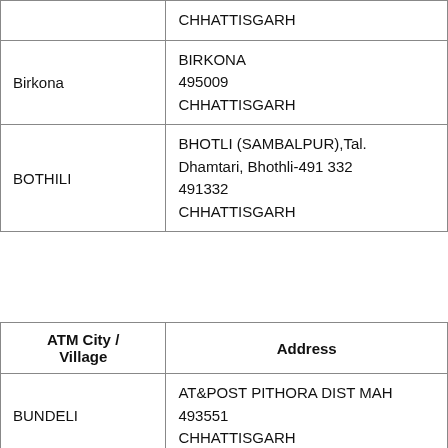| ATM City / Village | Address |
| --- | --- |
|  | CHHATTISGARH |
| Birkona | BIRKONA
495009
CHHATTISGARH |
| BOTHILI | BHOTLI (SAMBALPUR),Tal. Dhamtari, Bhothli-491 332
491332
CHHATTISGARH |
| ATM City / Village | Address |
| --- | --- |
| BUNDELI | AT&POST PITHORA DIST MAH
493551
CHHATTISGARH |